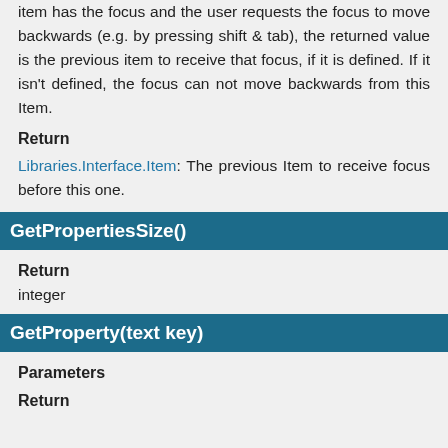item has the focus and the user requests the focus to move backwards (e.g. by pressing shift & tab), the returned value is the previous item to receive that focus, if it is defined. If it isn't defined, the focus can not move backwards from this Item.
Return
Libraries.Interface.Item: The previous Item to receive focus before this one.
GetPropertiesSize()
Return
integer
GetProperty(text key)
Parameters
Return